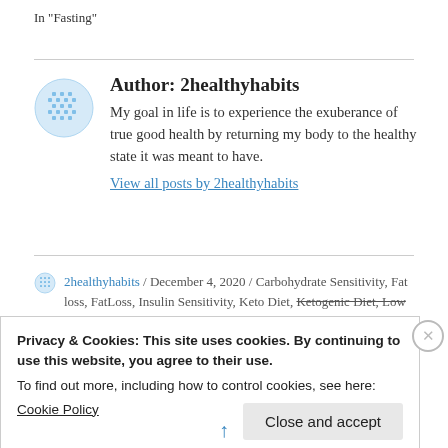In "Fasting"
Author: 2healthyhabits
My goal in life is to experience the exuberance of true good health by returning my body to the healthy state it was meant to have.
View all posts by 2healthyhabits
2healthyhabits / December 4, 2020 / Carbohydrate Sensitivity, Fat loss, FatLoss, Insulin Sensitivity, Keto Diet, Ketogenic Diet, Low Carb Diet, Nutrition, Obesity, Weight
Privacy & Cookies: This site uses cookies. By continuing to use this website, you agree to their use.
To find out more, including how to control cookies, see here:
Cookie Policy
Close and accept